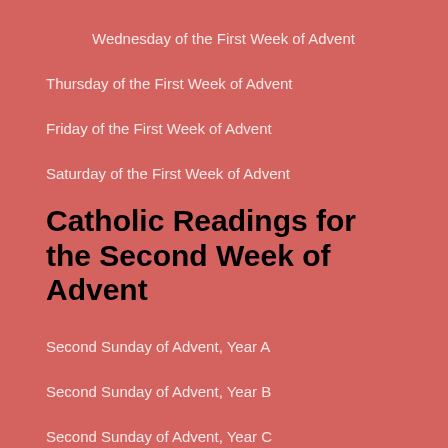Wednesday of the First Week of Advent
Thursday of the First Week of Advent
Friday of the First Week of Advent
Saturday of the First Week of Advent
Catholic Readings for the Second Week of Advent
Second Sunday of Advent, Year A
Second Sunday of Advent, Year B
Second Sunday of Advent, Year C
Monday of the Second Week of Advent